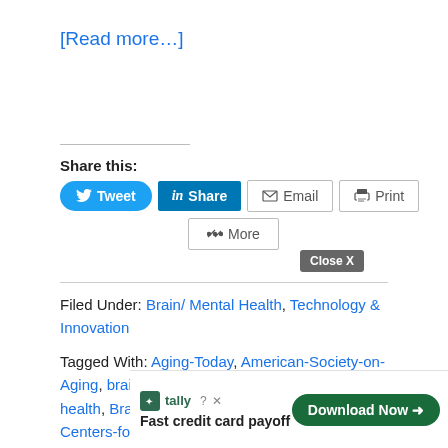[Read more…]
Share this:
[Figure (other): Social share buttons: Tweet, Share (LinkedIn), Email, Print, More]
Filed Under: Brain/ Mental Health, Technology & Innovation
Tagged With: Aging-Today, American-Society-on-Aging, brain-age, brain-fitness-coaches, Brain-health, Brain-Resource-Company, Brain-Training, Centers-for-Disease-Control, cognitive-ability, cognitive-asse…, corpo…
[Figure (other): Ad overlay: Tally - Fast credit card payoff, Download Now button, Close X button]